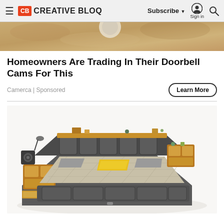Creative Bloq — Subscribe | Sign in | Search
[Figure (photo): Top portion of an advertisement image showing a stone/wooden surface background]
Homeowners Are Trading In Their Doorbell Cams For This
Camerca | Sponsored
Learn More
[Figure (photo): A multi-functional smart bed with grey upholstery, built-in storage drawers, speaker system on the left side, wooden shelving at the headboard, and a yellow pillow on the checkered mattress]